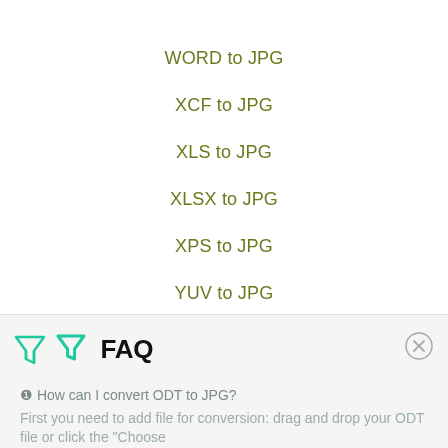WORD to JPG
XCF to JPG
XLS to JPG
XLSX to JPG
XPS to JPG
YUV to JPG
FAQ
❶ How can I convert ODT to JPG?
First you need to add file for conversion: drag and drop your ODT file or click the "Choose